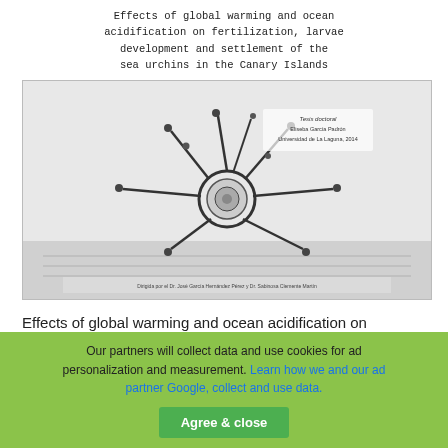Effects of global warming and ocean acidification on fertilization, larvae development and settlement of the sea urchins in the Canary Islands
[Figure (photo): Cover image of a doctoral thesis showing a sea urchin larva (pluteus stage) photographed in black and white. The larva has long spiny arms extending outward with a circular body. Text overlay reads: Tesis doctoral, Eliseba García Padrón, Universidad de La Laguna, 2014. Bottom text: Dirigida por el Dr. José García Hernández Pérez y Dr. Sabinosa Clemente Martín.]
Effects of global warming and ocean acidification on
Read more
Our partners will collect data and use cookies for ad personalization and measurement. Learn how we and our ad partner Google, collect and use data.
Agree & close